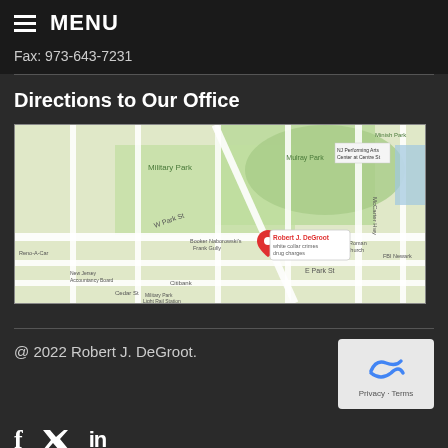MENU
Fax: 973-643-7231
Directions to Our Office
[Figure (map): Google Maps view showing the location of Robert J. DeGroot white collar crimes drug charges office near Military Park, Newark NJ]
@ 2022 Robert J. DeGroot.